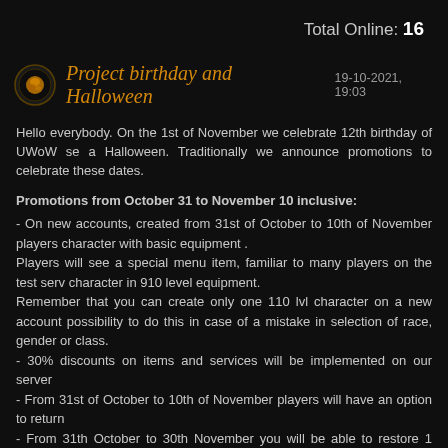Total Online: 16
Project birthday and Halloween   19-10-2021, 19:03
Hello everybody. On the 1st of November we celebrate 12th birthday of UWoW se a Halloween. Traditionally we announce promotions to celebrate these dates.
Promotions from October 31 to November 10 inclusive:
- On new accounts, created from 31st of October to 10th of November players character with basic equipment .
Players will see a special menu item, familiar to many players on the test serv character in 910 level equipment.
Remember that you can create only one 110 lvl character on a new account possibility to do this in case of a mistake in selection of race, gender or class.
- 30% discounts on items and services will be implemented on our server
- From 31st of October to 10th of November players will have an option to return 
- From 31th October to 30th November you will be able to restore 1 character or restore only 1 character, so be attentive.